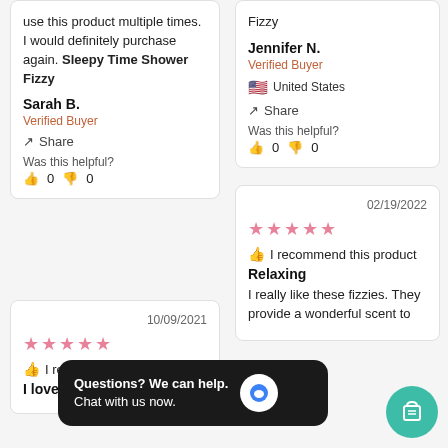use this product multiple times. I would definitely purchase again. Sleepy Time Shower Fizzy
Sarah B.
Verified Buyer
Share
Was this helpful?
👍 0  👎 0
Fizzy
Jennifer N.
Verified Buyer
🇺🇸 United States
Share
Was this helpful?
👍 0  👎 0
10/09/2021
⭐⭐⭐⭐⭐
👍 I recommend this product
I loved it
02/19/2022
⭐⭐⭐⭐⭐
👍 I recommend this product
Relaxing
I really like these fizzies. They provide a wonderful scent to
Questions? We can help. Chat with us now.